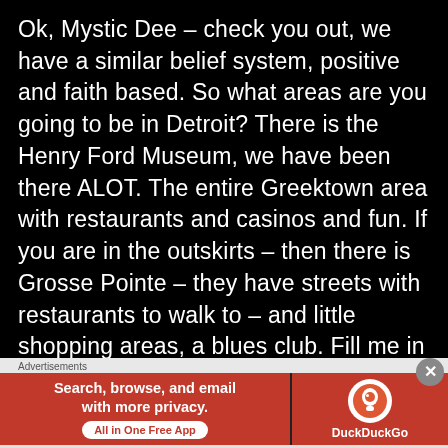Ok, Mystic Dee – check you out, we have a similar belief system, positive and faith based. So what areas are you going to be in Detroit? There is the Henry Ford Museum, we have been there ALOT. The entire Greektown area with restaurants and casinos and fun. If you are in the outskirts – then there is Grosse Pointe – they have streets with restaurants to walk to – and little shopping areas, a blues club. Fill me in
[Figure (other): DuckDuckGo advertisement banner: orange background on left with text 'Search, browse, and email with more privacy. All in One Free App' and DuckDuckGo logo on right.]